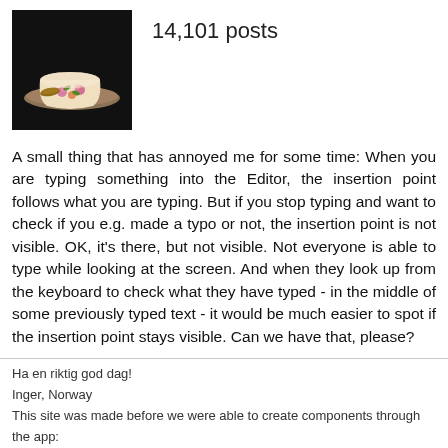[Figure (photo): Decorative teacup and saucer with floral pattern on a dark background, used as user avatar]
14,101 posts
A small thing that has annoyed me for some time: When you are typing something into the Editor, the insertion point follows what you are typing. But if you stop typing and want to check if you e.g. made a typo or not, the insertion point is not visible. OK, it's there, but not visible. Not everyone is able to type while looking at the screen. And when they look up from the keyboard to check what they have typed - in the middle of some previously typed text - it would be much easier to spot if the insertion point stays visible. Can we have that, please?
Ha en riktig god dag!
Inger, Norway
This site was made before we were able to create components through the app:
Component sharing for RFF, RBB, RSD and SD:
https://ojkwob.com/sharing/